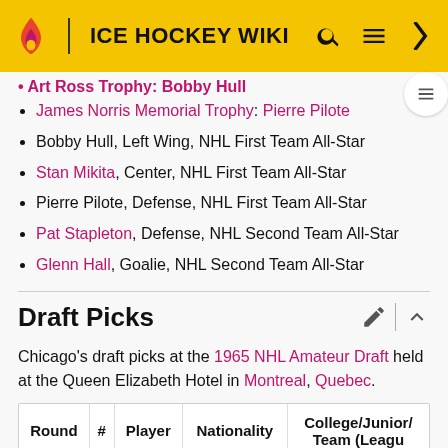ICE HOCKEY WIKI
Art Ross Trophy: Bobby Hull (partial, cut off)
James Norris Memorial Trophy: Pierre Pilote
Bobby Hull, Left Wing, NHL First Team All-Star
Stan Mikita, Center, NHL First Team All-Star
Pierre Pilote, Defense, NHL First Team All-Star
Pat Stapleton, Defense, NHL Second Team All-Star
Glenn Hall, Goalie, NHL Second Team All-Star
Draft Picks
Chicago's draft picks at the 1965 NHL Amateur Draft held at the Queen Elizabeth Hotel in Montreal, Quebec.
| Round | # | Player | Nationality | College/Junior/Club Team (League) |
| --- | --- | --- | --- | --- |